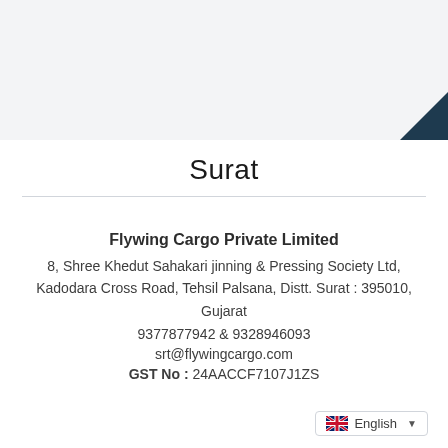[Figure (other): Light gray top banner section with dark navy corner triangle shape at bottom right]
Surat
Flywing Cargo Private Limited
8, Shree Khedut Sahakari jinning & Pressing Society Ltd, Kadodara Cross Road, Tehsil Palsana, Distt. Surat : 395010, Gujarat
9377877942 & 9328946093
srt@flywingcargo.com
GST No : 24AACCF7107J1ZS
[Figure (other): Language selector dropdown showing UK flag and 'English' text with dropdown arrow]